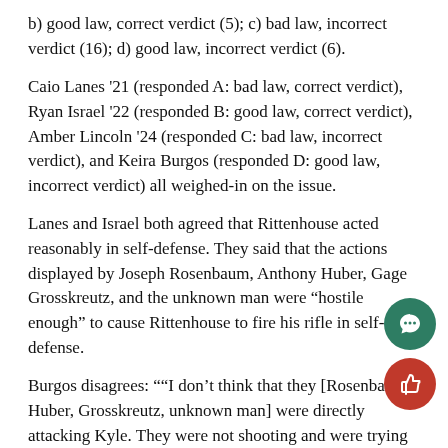b) good law, correct verdict (5); c) bad law, incorrect verdict (16); d) good law, incorrect verdict (6).
Caio Lanes '21 (responded A: bad law, correct verdict), Ryan Israel '22 (responded B: good law, correct verdict), Amber Lincoln '24 (responded C: bad law, incorrect verdict), and Keira Burgos (responded D: good law, incorrect verdict) all weighed-in on the issue.
Lanes and Israel both agreed that Rittenhouse acted reasonably in self-defense. They said that the actions displayed by Joseph Rosenbaum, Anthony Huber, Gage Grosskreutz, and the unknown man were “hostile enough” to cause Rittenhouse to fire his rifle in self-defense.
Burgos disagrees: ““I don’t think that they [Rosenbaum, Huber, Grosskreutz, unknown man] were directly attacking Kyle. They were not shooting and were trying to disarm him. I also don’t think that the [Huber’s] skateboard wou…